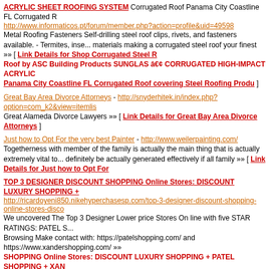ACRYLIC SHEET ROOFING SYSTEM Corrugated Roof Panama City Coastline FL Corrugated R... http://www.informaticos.pt/forum/member.php?action=profile&uid=49598 Metal Roofing Fasteners Self-drilling steel roof clips, rivets, and fasteners available. - Termites, inse... materials making a corrugated steel roof your finest »» [ Link Details for Shop Corrugated Steel Roof by ASC Building Products SUNGLAS â€¢ CORRUGATED HIGH-IMPACT ACRYLIC Panama City Coastline FL Corrugated Roof covering Steel Roofing Produ ]
Great Bay Area Divorce Attorneys - http://snyderhitek.in/index.php?option=com_k2&view=itemlis... Great Alameda Divorce Lawyers »» [ Link Details for Great Bay Area Divorce Attorneys ]
Just how to Opt For the very best Painter - http://www.weilerpainting.com/ Togetherness with member of the family is actually the main thing that is actually extremely vital to... definitely be actually generated effectively if all family »» [ Link Details for Just how to Opt For ]
TOP 3 DESIGNER DISCOUNT SHOPPING Online Stores: DISCOUNT LUXURY SHOPPING + ... http://ricardoyeni850.nikehyperchasesp.com/top-3-designer-discount-shopping-online-stores-discou... We uncovered The Top 3 Designer Lower price Stores On line with five STAR RATINGS: PATEL S... Browsing Make contact with: https://patelshopping.com/ and https://www.xandershopping.com/ »» SHOPPING Online Stores: DISCOUNT LUXURY SHOPPING + PATEL SHOPPING + XAN...
Gaspistole Ptb - http://www.abeze.printer.md/index.php?option=com_k2&view=itemlist&task=user... Die Seite spricht über Gaspistole Günstig »» [ Link Details for Gaspistole Ptb ]
Can A Girl See If You Super Like Them On Tinder - http://arizzitano.com/tinder-gold You Don\'t Have To Be A Great Company To Start TINDER MOD »» [ Link Details for Can A Gir ]
runescape argus gold - http://probemas.bravesites.com/ Eliminate five Hooligans (Degree 46) and use the documents they drop on your folder. Make use of... utilized to securely teleport to the Mayhem Altar. Go to Edgeville »» [ Link Details for runescape a ]
TOP 3 DISCOUNT DESIGNER SHOPPING Online Stores: PATEL SHOPPING / DISCOUNT LU... http://sethkmui072.westbluestudio.com/top-3-discount-designer-shopping-online-stores-patel-shopp... We observed The best three Designer Price cut Merchants On-line with 5 STAR Rankings: PATEL B... Searching Call: https://patelshopping.com/ and https://www.xandershopping.com/ »» [ Link Details Online Stores: PATEL SHOPPING / DISCOUNT LUXURY SHOPPING / XANADER SHOPPE ]
Generate Tunes Totally Free WITH Audio MAKER - http://codymaqt946.image-perth.org/hec...